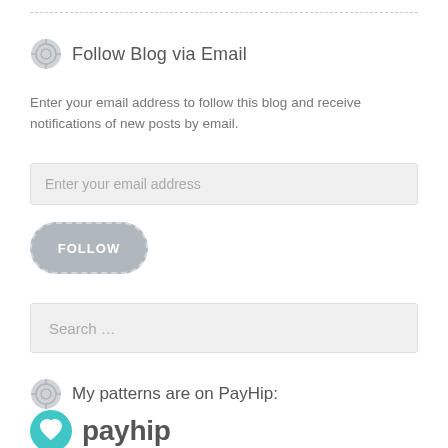Follow Blog via Email
Enter your email address to follow this blog and receive notifications of new posts by email.
[Figure (screenshot): Email address input field with placeholder text 'Enter your email address']
[Figure (screenshot): Follow button — rounded rectangle with dashed border, grey background, white bold text 'FOLLOW']
[Figure (screenshot): Search input box with placeholder text 'Search ...']
My patterns are on PayHip:
[Figure (logo): PayHip logo — teal circle with white heart icon, beside bold grey text 'payhip']